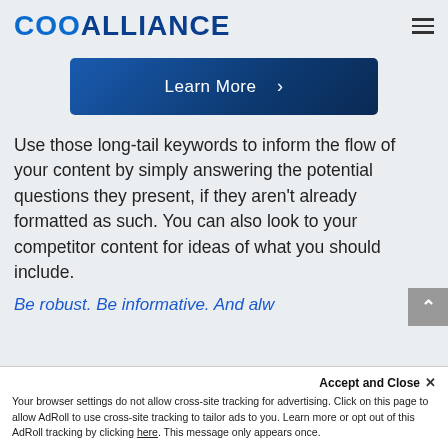COOALLIANCE
[Figure (other): Learn More button with right arrow chevron, dark blue gradient background]
Use those long-tail keywords to inform the flow of your content by simply answering the potential questions they present, if they aren't already formatted as such. You can also look to your competitor content for ideas of what you should include.
Be robust. Be informative. And alw
Your browser settings do not allow cross-site tracking for advertising. Click on this page to allow AdRoll to use cross-site tracking to tailor ads to you. Learn more or opt out of this AdRoll tracking by clicking here. This message only appears once.